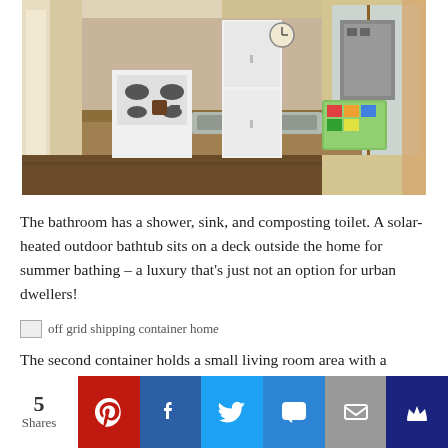[Figure (photo): Interior kitchen view of a shipping container home. Long narrow kitchen with stove, refrigerator, countertops, double sink, and a wall-mounted gas hot water heater. Natural light from windows on the right side.]
The bathroom has a shower, sink, and composting toilet. A solar-heated outdoor bathtub sits on a deck outside the home for summer bathing – a luxury that's just not an option for urban dwellers!
[Figure (photo): off grid shipping container home (broken/missing image placeholder)]
The second container holds a small living room area with a
5 Shares | Pinterest | Facebook | Twitter | SMS | Email | Crown